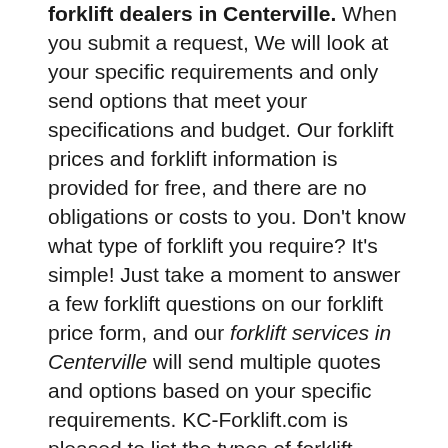forklift dealers in Centerville. When you submit a request, We will look at your specific requirements and only send options that meet your specifications and budget. Our forklift prices and forklift information is provided for free, and there are no obligations or costs to you. Don't know what type of forklift you require? It's simple! Just take a moment to answer a few forklift questions on our forklift price form, and our forklift services in Centerville will send multiple quotes and options based on your specific requirements. KC-Forklift.com is pleased to list the types of forklift services our partners offer, and forklift services available in Centerville. Please submit your forklift request today. We look forward to earning your business and saving you money!
Forklifts for Sale Centerville